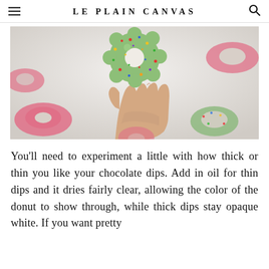LE PLAIN CANVAS
[Figure (photo): A hand holding a green frosted donut with colorful sprinkles above a white surface with several other donuts (pink and green) scattered around.]
You'll need to experiment a little with how thick or thin you like your chocolate dips. Add in oil for thin dips and it dries fairly clear, allowing the color of the donut to show through, while thick dips stay opaque white. If you want pretty